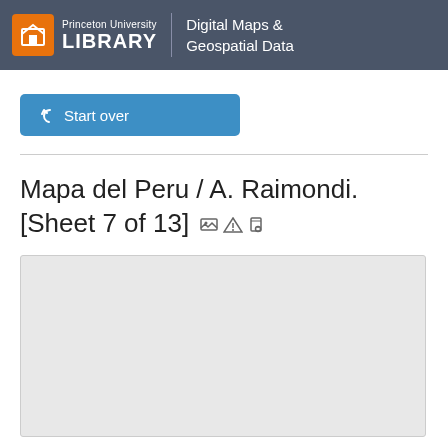Princeton University LIBRARY | Digital Maps & Geospatial Data
Start over
Mapa del Peru / A. Raimondi. [Sheet 7 of 13]
[Figure (other): Gray preview/loading box for map content]